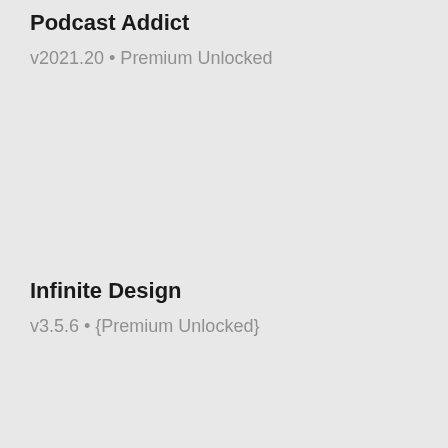Podcast Addict
v2021.20 • Premium Unlocked
Infinite Design
v3.5.6 • {Premium Unlocked}